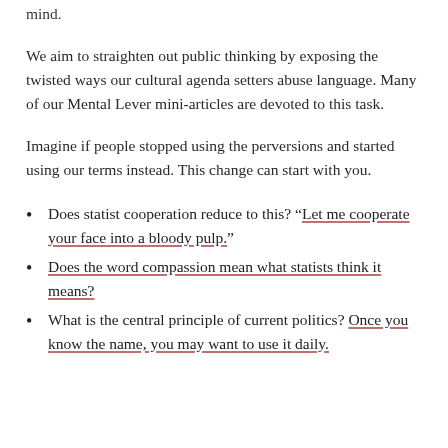mind.
We aim to straighten out public thinking by exposing the twisted ways our cultural agenda setters abuse language. Many of our Mental Lever mini-articles are devoted to this task.
Imagine if people stopped using the perversions and started using our terms instead. This change can start with you.
Does statist cooperation reduce to this? “Let me cooperate your face into a bloody pulp.”
Does the word compassion mean what statists think it means?
What is the central principle of current politics? Once you know the name, you may want to use it daily.